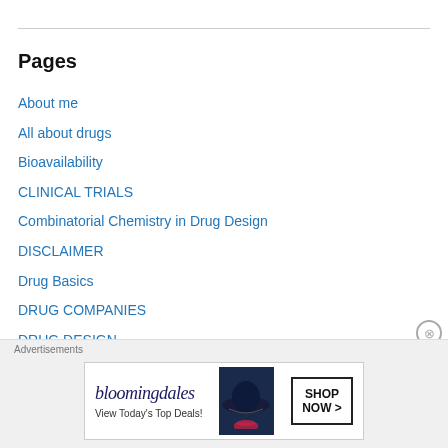Pages
About me
All about drugs
Bioavailability
CLINICAL TRIALS
Combinatorial Chemistry in Drug Design
DISCLAIMER
Drug Basics
DRUG COMPANIES
DRUG DESIGN
DRUG DISCOVERY
Drug Information
DRUG NEWS
[Figure (other): Bloomingdale's advertisement banner: 'View Today's Top Deals!' with SHOP NOW button and woman in hat]